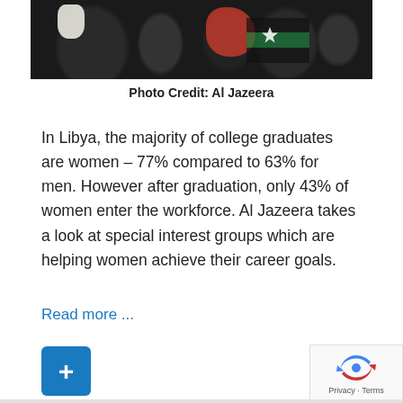[Figure (photo): Photo of women wearing headscarves and traditional clothing, one holding a white bag, another with a red scarf, a Libyan flag visible in the background.]
Photo Credit: Al Jazeera
In Libya, the majority of college graduates are women – 77% compared to 63% for men. However after graduation, only 43% of women enter the workforce. Al Jazeera takes a look at special interest groups which are helping women achieve their career goals.
Read more ...
[Figure (other): Blue square button with a white plus (+) symbol]
[Figure (other): reCAPTCHA widget showing a spinning arrows icon with Privacy and Terms links below]